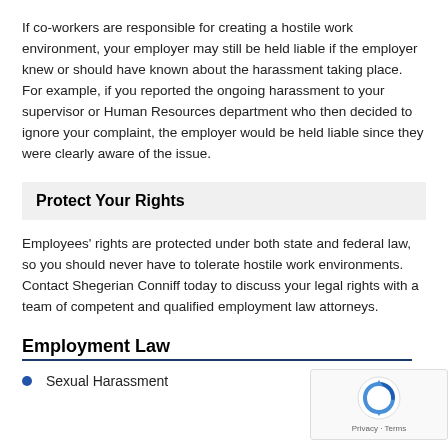If co-workers are responsible for creating a hostile work environment, your employer may still be held liable if the employer knew or should have known about the harassment taking place. For example, if you reported the ongoing harassment to your supervisor or Human Resources department who then decided to ignore your complaint, the employer would be held liable since they were clearly aware of the issue.
Protect Your Rights
Employees' rights are protected under both state and federal law, so you should never have to tolerate hostile work environments. Contact Shegerian Conniff today to discuss your legal rights with a team of competent and qualified employment law attorneys.
Employment Law
Sexual Harassment